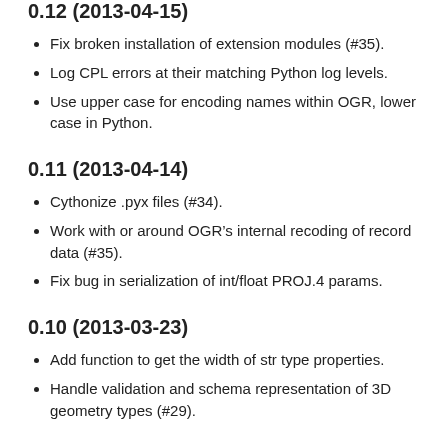0.12 (2013-04-15)
Fix broken installation of extension modules (#35).
Log CPL errors at their matching Python log levels.
Use upper case for encoding names within OGR, lower case in Python.
0.11 (2013-04-14)
Cythonize .pyx files (#34).
Work with or around OGR’s internal recoding of record data (#35).
Fix bug in serialization of int/float PROJ.4 params.
0.10 (2013-03-23)
Add function to get the width of str type properties.
Handle validation and schema representation of 3D geometry types (#29).